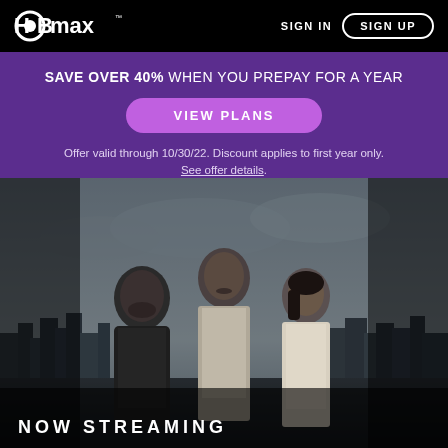HBO Max | SIGN IN | SIGN UP
SAVE OVER 40% WHEN YOU PREPAY FOR A YEAR
VIEW PLANS
Offer valid through 10/30/22. Discount applies to first year only. See offer details.
[Figure (photo): Black and white promotional photo of three characters (two men and one woman) standing against a city skyline backdrop, for an HBO Max streaming show]
NOW STREAMING